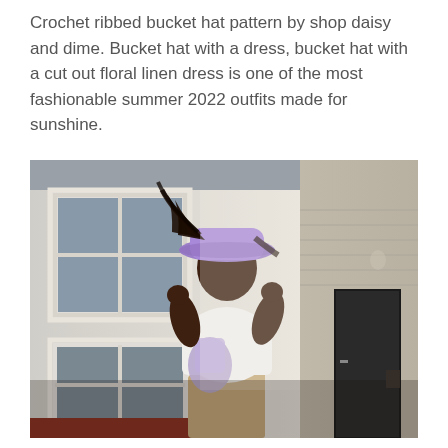Crochet ribbed bucket hat pattern by shop daisy and dime. Bucket hat with a dress, bucket hat with a cut out floral linen dress is one of the most fashionable summer 2022 outfits made for sunshine.
[Figure (photo): A young woman wearing a purple bucket hat, white t-shirt, a lavender crossbody bag, and tan wide-leg trousers, posing outdoors in front of a white-painted building with large windows on a sunny day.]